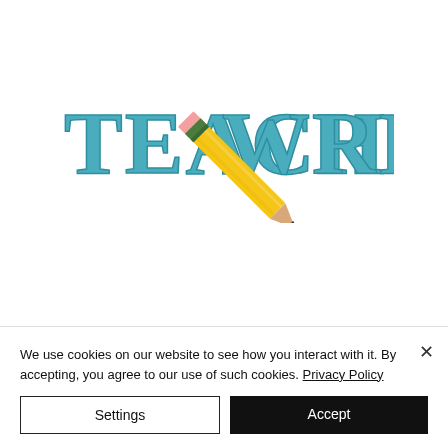[Figure (logo): Teach Write logo: bold teal/blue serif text 'TEACH WRITE' with a yellow pencil drawn diagonally across the text from upper right to lower right, with a pink eraser tip, green ferrule band, and dark pencil tip.]
We use cookies on our website to see how you interact with it. By accepting, you agree to our use of such cookies. Privacy Policy
Settings
Accept